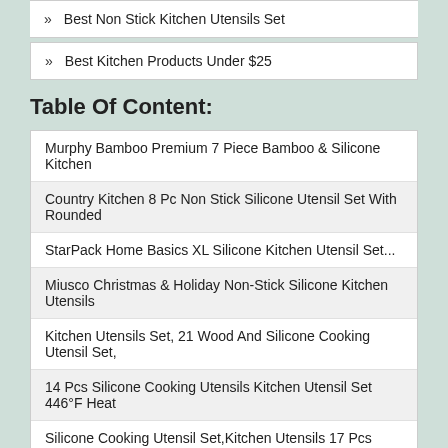» Best Non Stick Kitchen Utensils Set
» Best Kitchen Products Under $25
Table Of Content:
Murphy Bamboo Premium 7 Piece Bamboo & Silicone Kitchen
Country Kitchen 8 Pc Non Stick Silicone Utensil Set With Rounded
StarPack Home Basics XL Silicone Kitchen Utensil Set...
Miusco Christmas & Holiday Non-Stick Silicone Kitchen Utensils
Kitchen Utensils Set, 21 Wood And Silicone Cooking Utensil Set,
14 Pcs Silicone Cooking Utensils Kitchen Utensil Set 446°F Heat
Silicone Cooking Utensil Set,Kitchen Utensils 17 Pcs Cooking
Kinfayv Silicone Cooking Utensils Kitchen Utensil Set, 21 PCS
Zulay Non-Stick Silicone Utensils Set With Authentic Acacia Wood
TOOKSA- Premium 5 Piece Acacia Multi-Toned Light And Dark